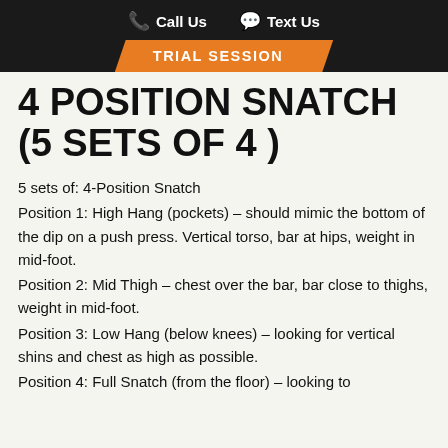Call Us   Text Us   TRIAL SESSION
4 POSITION SNATCH (5 SETS OF 4 )
5 sets of: 4-Position Snatch
Position 1: High Hang (pockets) – should mimic the bottom of the dip on a push press. Vertical torso, bar at hips, weight in mid-foot.
Position 2: Mid Thigh – chest over the bar, bar close to thighs, weight in mid-foot.
Position 3: Low Hang (below knees) – looking for vertical shins and chest as high as possible.
Position 4: Full Snatch (from the floor) – looking to